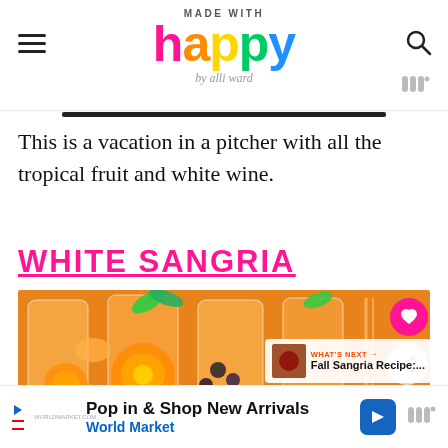Made With Happy by alli ward
This is a vacation in a pitcher with all the tropical fruit and white wine.
WHITE SANGRIA
[Figure (photo): Glasses of white sangria filled with orange slices, blackberries, and mint leaves, with a pitcher in the background]
WHAT'S NEXT → Fall Sangria Recipe:...
Pop in & Shop New Arrivals World Market